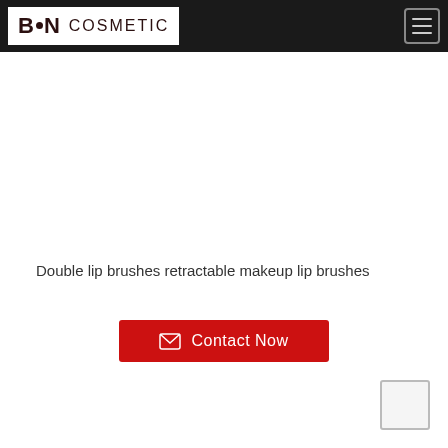B·N COSMETIC
Double lip brushes retractable makeup lip brushes
Contact Now